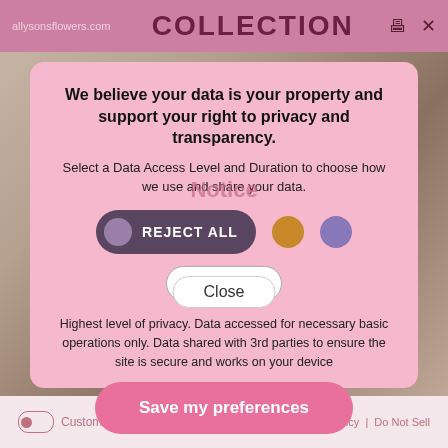allysonsflowers.com  COLLECTION
We believe your data is your property and support your right to privacy and transparency.
Select a Data Access Level and Duration to choose how we use and share your data.
Notice
REJECT ALL
Due to a shortage of flowers, substitutions may be necessary. Thank you for your understanding during these challenging times.
1 month
Highest level of privacy. Data accessed for necessary basic operations only. Data shared with 3rd parties to ensure the site is secure and works on your device
Close
Save my preferences
Customize  Privacy policy  |  Do Not Sell